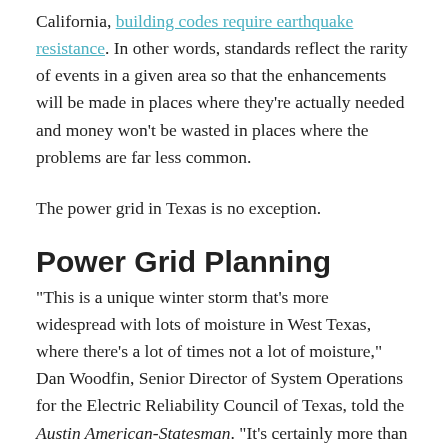California, building codes require earthquake resistance. In other words, standards reflect the rarity of events in a given area so that the enhancements will be made in places where they're actually needed and money won't be wasted in places where the problems are far less common.
The power grid in Texas is no exception.
Power Grid Planning
“This is a unique winter storm that’s more widespread with lots of moisture in West Texas, where there’s a lot of times not a lot of moisture,” Dan Woodfin, Senior Director of System Operations for the Electric Reliability Council of Texas, told the Austin American-Statesman. “It’s certainly more than what we would typically assume.”
In Texas, a southern state that generally doesn’t get these